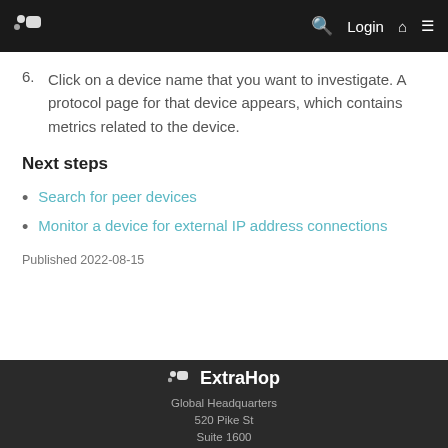ExtraHop logo nav bar with search, Login, home, and menu icons
6. Click on a device name that you want to investigate. A protocol page for that device appears, which contains metrics related to the device.
Next steps
Search for peer devices
Monitor a device for external IP address connections
Published 2022-08-15
ExtraHop Global Headquarters 520 Pike St Suite 1600